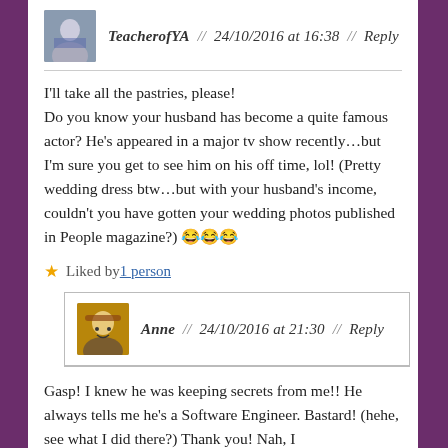TeacherofYA // 24/10/2016 at 16:38 // Reply
I'll take all the pastries, please!
Do you know your husband has become a quite famous actor? He's appeared in a major tv show recently…but I'm sure you get to see him on his off time, lol! (Pretty wedding dress btw…but with your husband's income, couldn't you have gotten your wedding photos published in People magazine?) 😂😂😂
Liked by 1 person
Anne // 24/10/2016 at 21:30 // Reply
Gasp! I knew he was keeping secrets from me!! He always tells me he's a Software Engineer. Bastard! (hehe, see what I did there?) Thank you! Nah, I